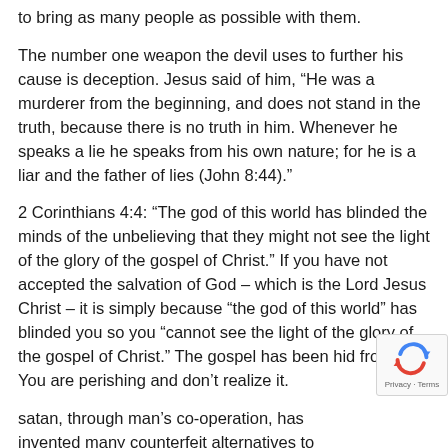to bring as many people as possible with them.
The number one weapon the devil uses to further his cause is deception. Jesus said of him, “He was a murderer from the beginning, and does not stand in the truth, because there is no truth in him. Whenever he speaks a lie he speaks from his own nature; for he is a liar and the father of lies (John 8:44).”
2 Corinthians 4:4: “The god of this world has blinded the minds of the unbelieving that they might not see the light of the glory of the gospel of Christ.” If you have not accepted the salvation of God – which is the Lord Jesus Christ – it is simply because “the god of this world” has blinded you so you “cannot see the light of the glory of the gospel of Christ.” The gospel has been hid from you. You are perishing and don’t realize it.
satan, through man’s co-operation, has invented many counterfeit alternatives to Christ for the purpose of camouflaging God’s true salvation. That is why there are